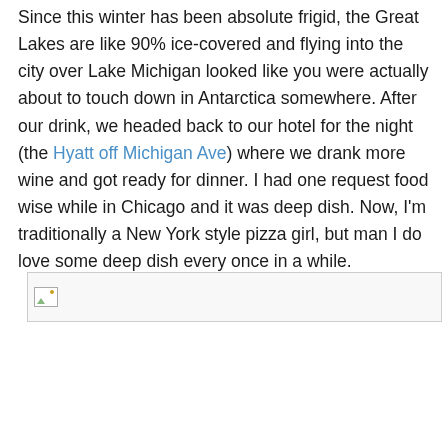Since this winter has been absolute frigid, the Great Lakes are like 90% ice-covered and flying into the city over Lake Michigan looked like you were actually about to touch down in Antarctica somewhere. After our drink, we headed back to our hotel for the night (the Hyatt off Michigan Ave) where we drank more wine and got ready for dinner. I had one request food wise while in Chicago and it was deep dish. Now, I'm traditionally a New York style pizza girl, but man I do love some deep dish every once in a while.
[Figure (photo): Broken/missing image placeholder — a small image icon with a green mountain and yellow sun symbol inside a bordered box]